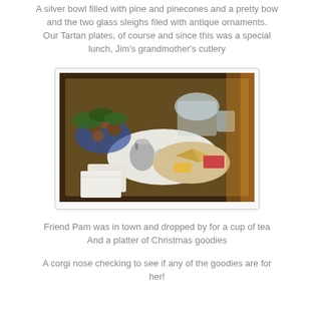A silver bowl filled with pine and pinecones and a pretty bow and the two glass sleighs filed with antique ornaments. Our Tartan plates, of course and since this was a special lunch, Jim's grandmother's cutlery
[Figure (photo): A wooden tray on a table with a platter of food including sandwich triangles and garnishes, a silver teapot creamer set, a crystal glass pitcher, a bowl of pinecones and greenery, and a napkin. Warm firelight visible at right.]
Friend Pam was in town and dropped by for a cup of tea And a platter of Christmas goodies
A corgi nose checking to see if any of the goodies are for her!